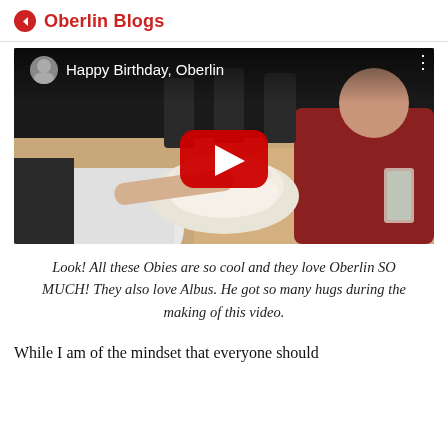Oberlin Blogs
[Figure (screenshot): YouTube video thumbnail showing people at a table with a stuffed animal (Albus), with a red play button overlay. Video title: 'Happy Birthday, Oberlin']
Look! All these Obies are so cool and they love Oberlin SO MUCH! They also love Albus. He got so many hugs during the making of this video.
While I am of the mindset that everyone should